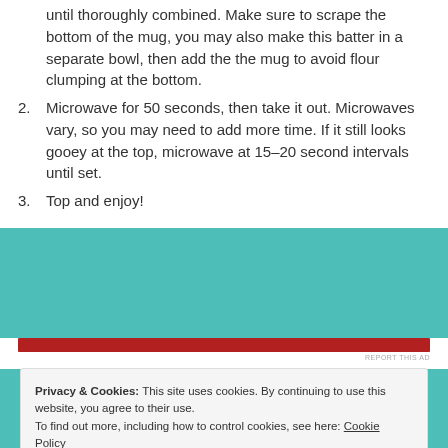until thoroughly combined. Make sure to scrape the bottom of the mug, you may also make this batter in a separate bowl, then add the the mug to avoid flour clumping at the bottom.
2. Microwave for 50 seconds, then take it out. Microwaves vary, so you may need to add more time. If it still looks gooey at the top, microwave at 15-20 second intervals until set.
3. Top and enjoy!
[Figure (other): Red advertisement banner bar with 'REPORT THIS AD' text below]
Privacy & Cookies: This site uses cookies. By continuing to use this website, you agree to their use. To find out more, including how to control cookies, see here: Cookie Policy
Close and accept